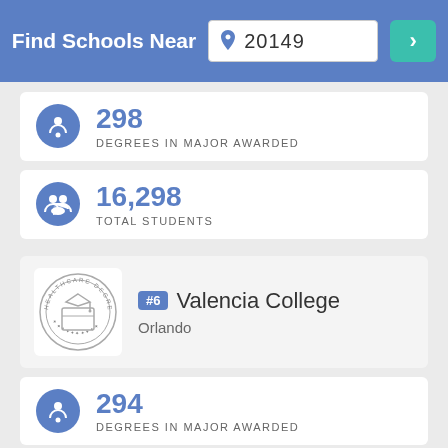Find Schools Near 20149
298
DEGREES IN MAJOR AWARDED
16,298
TOTAL STUDENTS
#6 Valencia College
Orlando
294
DEGREES IN MAJOR AWARDED